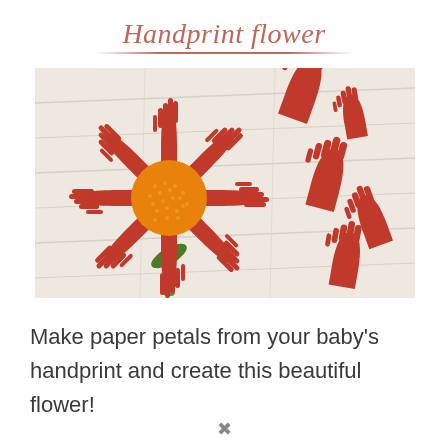Handprint flower
[Figure (photo): A craft project showing a handprint flower made from red paper cutouts shaped like hands arranged as petals around an orange circular center, with a green stem, displayed on a white wood plank background. Several individual red handprint cutouts are scattered in the background.]
Make paper petals from your baby's handprint and create this beautiful flower!